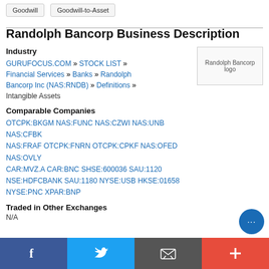Goodwill
Goodwill-to-Asset
Randolph Bancorp Business Description
Industry
GURUFOCUS.COM » STOCK LIST » Financial Services » Banks » Randolph Bancorp Inc (NAS:RNDB) » Definitions » Intangible Assets
[Figure (logo): Randolph Bancorp logo placeholder]
Comparable Companies
OTCPK:BKGM NAS:FUNC NAS:CZWI NAS:UNB NAS:CFBK NAS:FRAF OTCPK:FNRN OTCPK:CPKF NAS:OFED NAS:OVLY CAR:MVZ.A CAR:BNC SHSE:600036 SAU:1120 NSE:HDFCBANK SAU:1180 NYSE:USB HKSE:01658 NYSE:PNC XPAR:BNP
Traded in Other Exchanges
N/A
Facebook | Twitter | Email | Plus